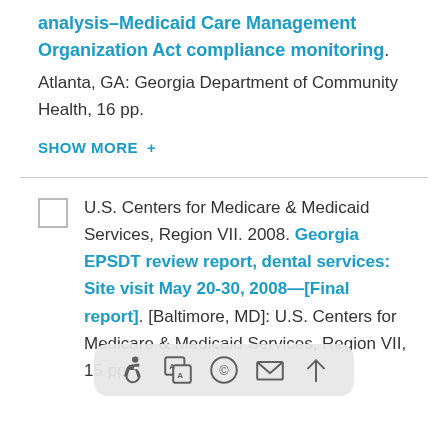analysis–Medicaid Care Management Organization Act compliance monitoring. Atlanta, GA: Georgia Department of Community Health, 16 pp.
SHOW MORE +
U.S. Centers for Medicare & Medicaid Services, Region VII. 2008. Georgia EPSDT review report, dental services: Site visit May 20-30, 2008—[Final report]. [Baltimore, MD]: U.S. Centers for Medicare & Medicaid Services, Region VII, 15 pp.